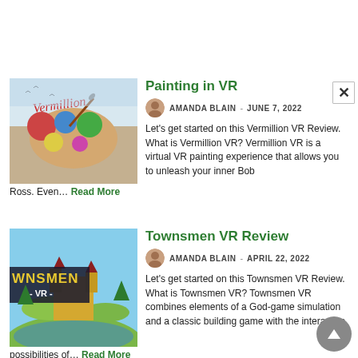Painting in VR
AMANDA BLAIN  -  JUNE 7, 2022
Let's get started on this Vermillion VR Review. What is Vermillion VR? Vermillion VR is a virtual VR painting experience that allows you to unleash your inner Bob Ross. Even… Read More
Townsmen VR Review
AMANDA BLAIN  -  APRIL 22, 2022
Let's get started on this Townsmen VR Review. What is Townsmen VR? Townsmen VR combines elements of a God-game simulation and a classic building game with the interactive possibilities of… Read More